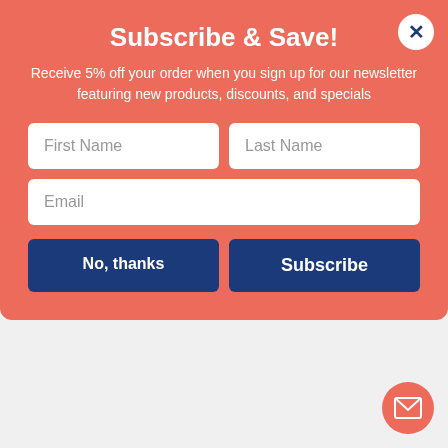Subscribe & Save!
Receive 5% off your order when you sign up for our newsletter featuring new products, discounts, and specials
First Name
Last Name
Email
No, thanks
Subscribe
Qty  1
Add to Cart
In Stock
Mediumweight Polystyrene Cutlery, Soup Spoon, White, 1,000/Carton